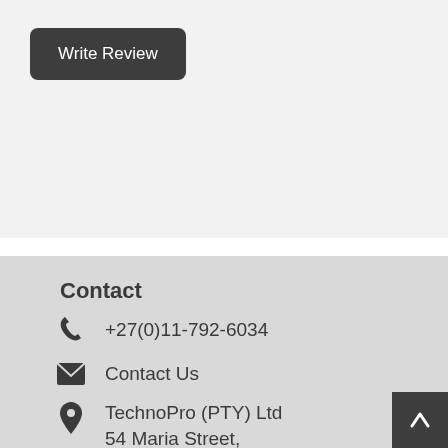Write Review
Contact
+27(0)11-792-6034
Contact Us
TechnoPro (PTY) Ltd 54 Maria Street, Fontainebleau Randburg